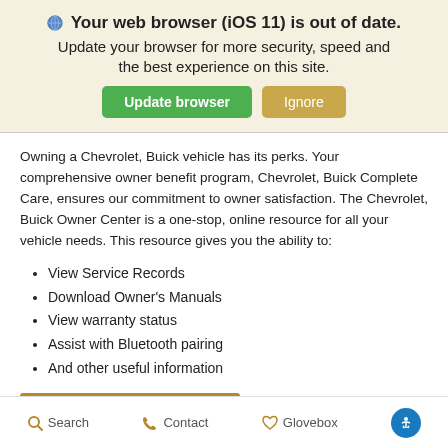Your web browser (iOS 11) is out of date. Update your browser for more security, speed and the best experience on this site.
Owning a Chevrolet, Buick vehicle has its perks. Your comprehensive owner benefit program, Chevrolet, Buick Complete Care, ensures our commitment to owner satisfaction. The Chevrolet, Buick Owner Center is a one-stop, online resource for all your vehicle needs. This resource gives you the ability to:
View Service Records
Download Owner's Manuals
View warranty status
Assist with Bluetooth pairing
And other useful information
Learn More
Search   Contact   Glovebox